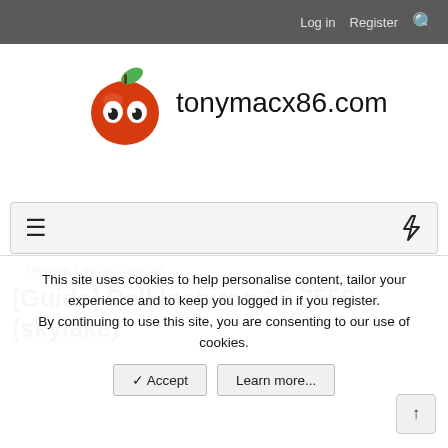Log in  Register  [search icon]
[Figure (logo): tonymacx86.com logo with red apple cartoon character and site name text]
[Figure (infographic): Navigation bar with hamburger menu icon on left and lightning bolt icon on right]
< Mojave Laptop Guides
[Guide] Dell Inspiron 15 7559 (skylake)
This site uses cookies to help personalise content, tailor your experience and to keep you logged in if you register.
By continuing to use this site, you are consenting to our use of cookies.
✓ Accept   Learn more...